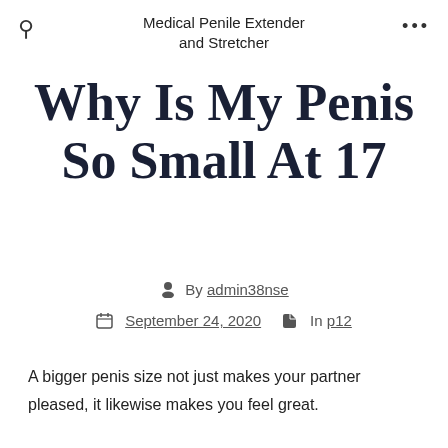Medical Penile Extender and Stretcher
Why Is My Penis So Small At 17
By admin38nse
September 24, 2020  In p12
A bigger penis size not just makes your partner pleased, it likewise makes you feel great. Nonetheless, there are numerous guys who live in